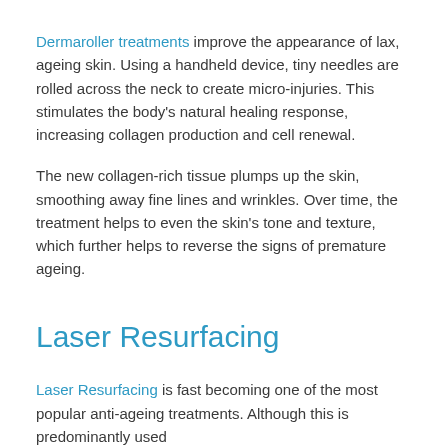Dermaroller treatments improve the appearance of lax, ageing skin. Using a handheld device, tiny needles are rolled across the neck to create micro-injuries. This stimulates the body's natural healing response, increasing collagen production and cell renewal.
The new collagen-rich tissue plumps up the skin, smoothing away fine lines and wrinkles. Over time, the treatment helps to even the skin's tone and texture, which further helps to reverse the signs of premature ageing.
Laser Resurfacing
Laser Resurfacing is fast becoming one of the most popular anti-ageing treatments. Although this is predominantly used